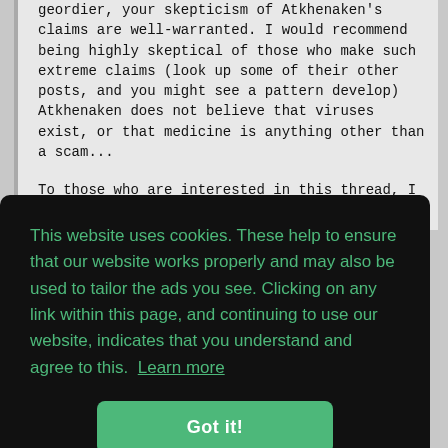geordier, your skepticism of Atkhenaken's claims are well-warranted. I would recommend being highly skeptical of those who make such extreme claims (look up some of their other posts, and you might see a pattern develop) Atkhenaken does not believe that viruses exist, or that medicine is anything other than a scam...

To those who are interested in this thread, I would also recommend paying attention to PmbPhy. He is very knowledgeable regarding physics,
This website uses cookies. These help to ensure that our website works properly and may also be used to tailor the ads you see. Clicking on any link within this page, and continuing to use our website, indicates that you understand and agree to this. Learn more
Got it!